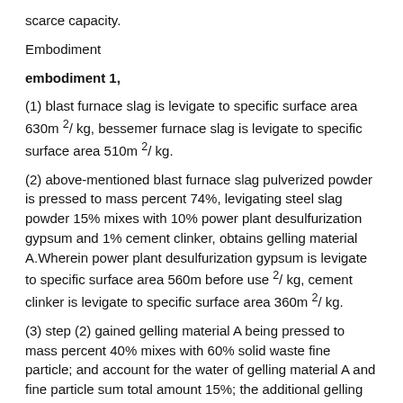scarce capacity.
Embodiment
embodiment 1,
(1) blast furnace slag is levigate to specific surface area 630m 2/ kg, bessemer furnace slag is levigate to specific surface area 510m 2/ kg.
(2) above-mentioned blast furnace slag pulverized powder is pressed to mass percent 74%, levigating steel slag powder 15% mixes with 10% power plant desulfurization gypsum and 1% cement clinker, obtains gelling material A.Wherein power plant desulfurization gypsum is levigate to specific surface area 560m before use 2/ kg, cement clinker is levigate to specific surface area 360m 2/ kg.
(3) step (2) gained gelling material A being pressed to mass percent 40% mixes with 60% solid waste fine particle; and account for the water of gelling material A and fine particle sum total amount 15%; the additional gelling material A that accounts for mixes with the PC water reducer of fine particle sum total amount 0.3%; with